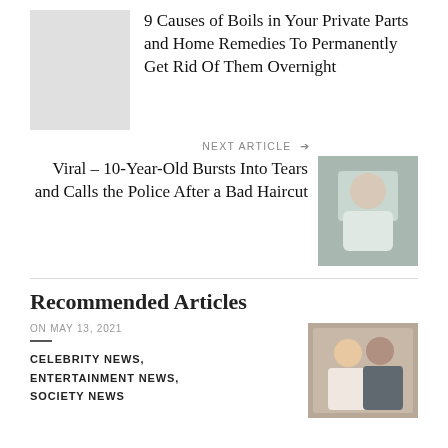[Figure (photo): Light gray placeholder thumbnail for previous article]
9 Causes of Boils in Your Private Parts and Home Remedies To Permanently Get Rid Of Them Overnight
NEXT ARTICLE →
Viral – 10-Year-Old Bursts Into Tears and Calls the Police After a Bad Haircut
[Figure (photo): Child sitting on floor, head in hands, upset after bad haircut]
Recommended Articles
ON MAY 13, 2021
CELEBRITY NEWS, ENTERTAINMENT NEWS, SOCIETY NEWS
[Figure (photo): Couple dressed up, man in suit, woman in white dress, posing together]